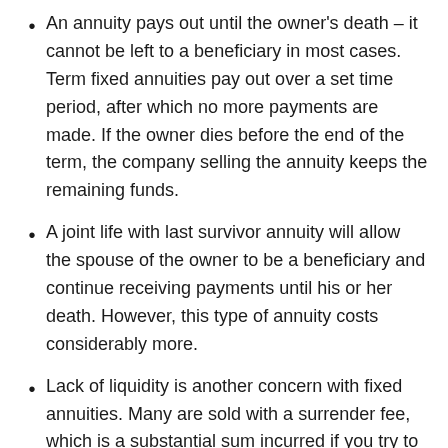An annuity pays out until the owner's death – it cannot be left to a beneficiary in most cases. Term fixed annuities pay out over a set time period, after which no more payments are made. If the owner dies before the end of the term, the company selling the annuity keeps the remaining funds.
A joint life with last survivor annuity will allow the spouse of the owner to be a beneficiary and continue receiving payments until his or her death. However, this type of annuity costs considerably more.
Lack of liquidity is another concern with fixed annuities. Many are sold with a surrender fee, which is a substantial sum incurred if you try to withdraw funds within the first few years of your contract. This surrender period can last from six to